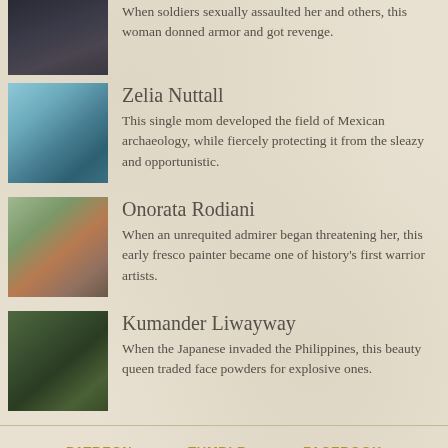When soldiers sexually assaulted her and others, this woman donned armor and got revenge.
Zelia Nuttall
This single mom developed the field of Mexican archaeology, while fiercely protecting it from the sleazy and opportunistic.
Onorata Rodiani
When an unrequited admirer began threatening her, this early fresco painter became one of history's first warrior artists.
Kumander Liwayway
When the Japanese invaded the Philippines, this beauty queen traded face powders for explosive ones.
PATREON   TUMBLR   FACEBOOK   TWITTER   INSTAGRAM   MAILING LIST
Contact   Privacy Notice   Conditions of Use
© 2022 Rejected Princesses